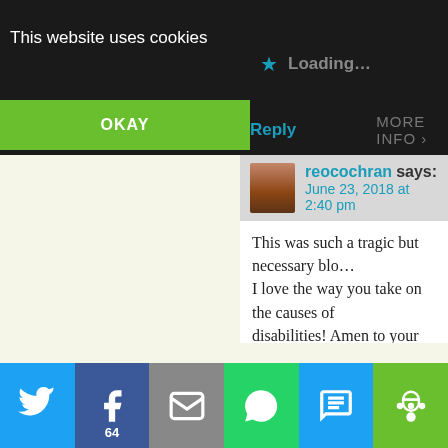This website uses cookies
OKAY
Loading...
Reply
MORE INFO
reocochran says: June 23, 2018 at 2:40 pm
This was such a tragic but necessary blo... I love the way you take on the causes of disabilities! Amen to your efforts and lo... friend. Take care and may there be sign... effort around the world!! ~ Robin 🌟
Loading...
Reply
inavukic says:
[Figure (screenshot): Social share bar with Twitter, Facebook (64 shares), Email, WhatsApp, SMS, and More buttons]